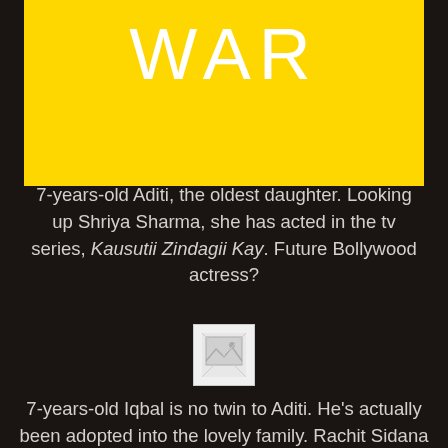[Figure (other): Yellow banner with WAR text in white]
7-years-old Aditi, the oldest daughter. Looking up Shriya Sharma, she has acted in the tv series, Kausutii Zindagii Kay. Future Bollywood actress?
[Figure (photo): Broken image placeholder]
7-years-old Iqbal is no twin to Aditi. He's actually been adopted into the lovely family. Rachit Sidana is too adorable. I love his man-to-man talk with Ranbeer. So heart-warming.
[Figure (photo): Broken image placeholder]